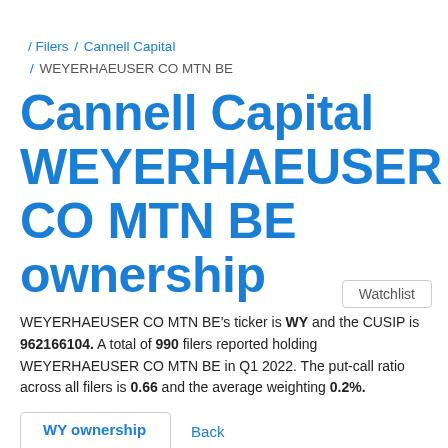/ Filers / Cannell Capital / WEYERHAEUSER CO MTN BE
Cannell Capital WEYERHAEUSER CO MTN BE ownership
Watchlist
WEYERHAEUSER CO MTN BE's ticker is WY and the CUSIP is 962166104. A total of 990 filers reported holding WEYERHAEUSER CO MTN BE in Q1 2022. The put-call ratio across all filers is 0.66 and the average weighting 0.2%.
| Shares | Value | Weighting |
| --- | --- | --- |